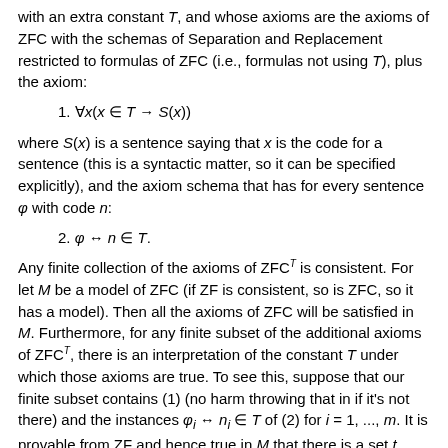with an extra constant T, and whose axioms are the axioms of ZFC with the schemas of Separation and Replacement restricted to formulas of ZFC (i.e., formulas not using T), plus the axiom:
1. ∀x(x ∈ T → S(x))
where S(x) is a sentence saying that x is the code for a sentence (this is a syntactic matter, so it can be specified explicitly), and the axiom schema that has for every sentence φ with code n:
2. φ ↔ n ∈ T.
Any finite collection of the axioms of ZFC^T is consistent. For let M be a model of ZFC (if ZF is consistent, so is ZFC, so it has a model). Then all the axioms of ZFC will be satisfied in M. Furthermore, for any finite subset of the additional axioms of ZFC^T, there is an interpretation of the constant T under which those axioms are true. To see this, suppose that our finite subset contains (1) (no harm throwing that in if it's not there) and the instances φ_i ↔ n_i ∈ T of (2) for i = 1, ..., m. It is provable from ZF and hence true in M that there is a set t